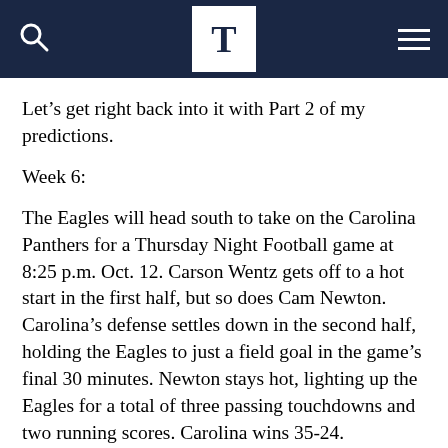T
Let's get right back into it with Part 2 of my predictions.
Week 6:
The Eagles will head south to take on the Carolina Panthers for a Thursday Night Football game at 8:25 p.m. Oct. 12. Carson Wentz gets off to a hot start in the first half, but so does Cam Newton. Carolina's defense settles down in the second half, holding the Eagles to just a field goal in the game's final 30 minutes. Newton stays hot, lighting up the Eagles for a total of three passing touchdowns and two running scores. Carolina wins 35-24.